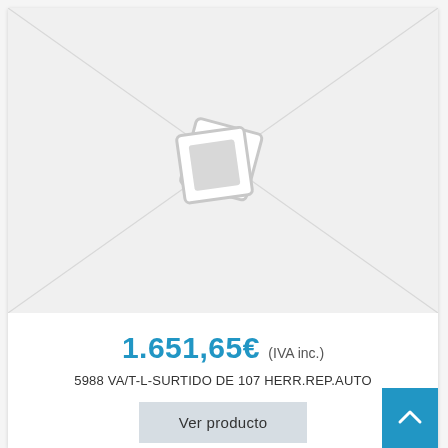[Figure (illustration): Product image placeholder: light grey background with diagonal cross lines and a grey photo placeholder icon (two overlapping rectangles) in the upper center area]
1.651,65€ (IVA inc.)
5988 VA/T-L-SURTIDO DE 107 HERR.REP.AUTO
Ver producto